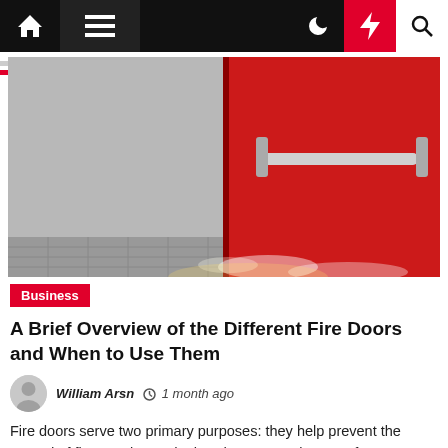Navigation bar with home, menu, moon, flash, and search icons
[Figure (photo): A red fire door with a push bar handle, smoke visible at the base, gray wall to the left, tiled floor]
Business
A Brief Overview of the Different Fire Doors and When to Use Them
William Arsn  1 month ago
Fire doors serve two primary purposes: they help prevent the spread of fire, smoke, and other dangerous elements from one building